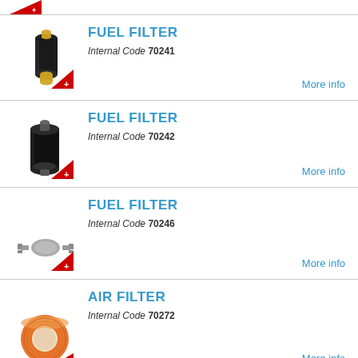[Figure (photo): Partial top of product listing with Swiss cross badge]
FUEL FILTER
Internal Code 70241
More info
FUEL FILTER
Internal Code 70242
More info
FUEL FILTER
Internal Code 70246
More info
AIR FILTER
Internal Code 70272
More info